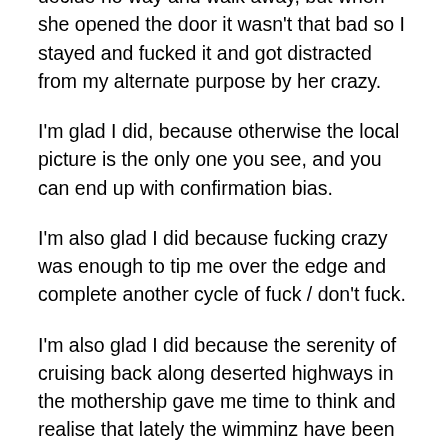decide no way and walk away, but when she opened the door it wasn't that bad so I stayed and fucked it and got distracted from my alternate purpose by her crazy.
I'm glad I did, because otherwise the local picture is the only one you see, and you can end up with confirmation bias.
I'm also glad I did because fucking crazy was enough to tip me over the edge and complete another cycle of fuck / don't fuck.
I'm also glad I did because the serenity of cruising back along deserted highways in the mothership gave me time to think and realise that lately the wimminz have been getting desperate and nastier with it.
I'm glad I did because all these things are feedback loops,